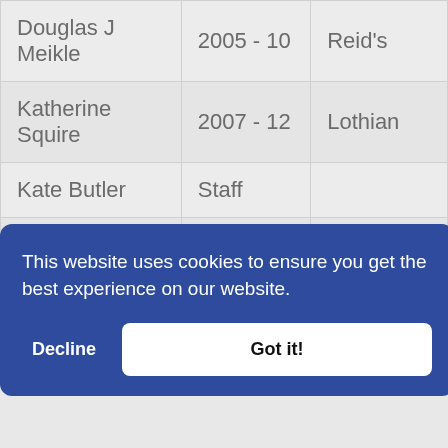| Name | Years / Role | Region |
| --- | --- | --- |
| Douglas J Meikle | 2005 - 10 | Reid's |
| Katherine Squire | 2007 - 12 | Lothian |
| Kate Butler | Staff |  |
| John Byrom | Honorary OG |  |
|  |  |  |
This website uses cookies to ensure you get the best experience on our website.
Decline   Got it!